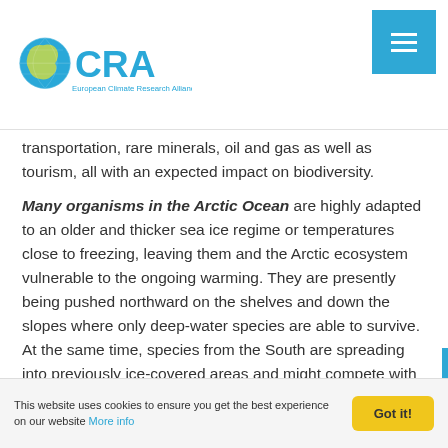ECRA – European Climate Research Alliance
transportation, rare minerals, oil and gas as well as tourism, all with an expected impact on biodiversity.
Many organisms in the Arctic Ocean are highly adapted to an older and thicker sea ice regime or temperatures close to freezing, leaving them and the Arctic ecosystem vulnerable to the ongoing warming. They are presently being pushed northward on the shelves and down the slopes where only deep-water species are able to survive. At the same time, species from the South are spreading into previously ice-covered areas and might compete with Arctic species for food
This website uses cookies to ensure you get the best experience on our website More info  Got it!